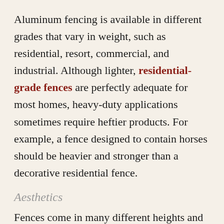Aluminum fencing is available in different grades that vary in weight, such as residential, resort, commercial, and industrial. Although lighter, residential-grade fences are perfectly adequate for most homes, heavy-duty applications sometimes require heftier products. For example, a fence designed to contain horses should be heavier and stronger than a decorative residential fence.
Aesthetics
Fences come in many different heights and styles from the basic 2 rail fence to the more ornate, decorative 3 and 4 rail styles. Some are simple, others are more ornamental while others have